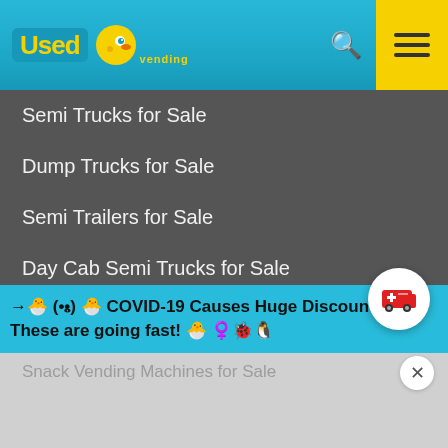[Figure (logo): Used Vending logo with yellow text and cartoon bird character on blue background]
Semi Trucks for Sale
Dump Trucks for Sale
Semi Trailers for Sale
Day Cab Semi Trucks for Sale
Sleeper Cabs for Sale
Mobile Boutique Trucks for Sale
Box Trucks for Sale
Flatbed Trucks for Sale
VENDING MACHINES
→ 🐣 (•𝄝•) 🐣 COVID-19 Causes Huge Discounts - These are going fast! 🐣 ♀꒰ঌ৺꒱
Soda Machines for Sale
Snack Vending Machines for Sale